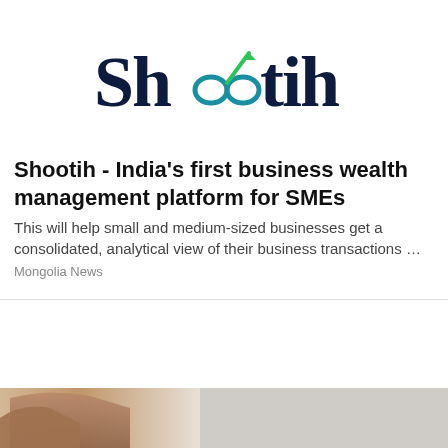[Figure (logo): Shootih logo — dark navy stylized text 'Shootih' with an infinity/arrow symbol replacing the two o's, featuring teal/blue infinity loops and a green upward arrow]
Shootih - India's first business wealth management platform for SMEs
This will help small and medium-sized businesses get a consolidated, analytical view of their business transactions …
Mongolia News
[Figure (photo): Partial photo of a brown/tan leather recliner chair against a light grey background]